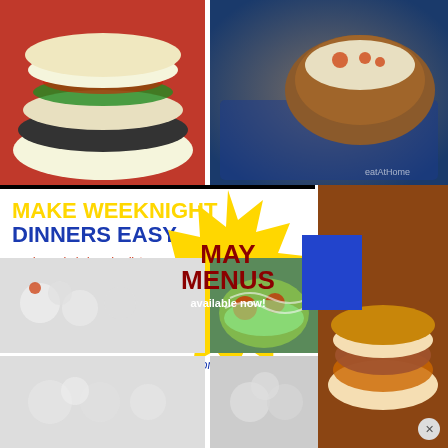[Figure (photo): Top-left: burger/sandwich on a red plate with lettuce, tomato, and cheese on a bun]
[Figure (photo): Top-right: loaded baked potato on a decorative blue plate with chicken and bacon toppings]
MAKE WEEKNIGHT DINNERS EASY
+ color coded shopping lists
+ printable recipes
+ easy, 15 minute meals
+ slow cooker and freezer friendly dinners
+ adjustable menus for small or larger families
+ traditional, whole food and slow cooker menus
EatatHomeCooks.com
[Figure (infographic): Yellow starburst badge with text MAY MENUS available now! and a blue square accent]
[Figure (photo): Right side: pulled pork or shredded meat sandwich]
[Figure (photo): Bottom-left: dumplings or small food items on a light background]
[Figure (photo): Bottom-right: pasta or Mexican dish with guacamole and red sauce]
[Figure (photo): Very bottom left: dumplings or small food items]
[Figure (photo): Very bottom right: similar light food items]